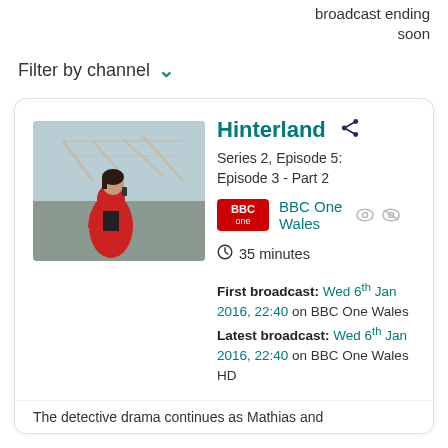broadcast ending soon
Filter by channel
[Figure (photo): Woman in red jacket talking on phone outdoors near a greenhouse structure]
Hinterland
Series 2, Episode 5: Episode 3 - Part 2
BBC One Wales
35 minutes
First broadcast: Wed 6th Jan 2016, 22:40 on BBC One Wales
Latest broadcast: Wed 6th Jan 2016, 22:40 on BBC One Wales HD
The detective drama continues as Mathias and